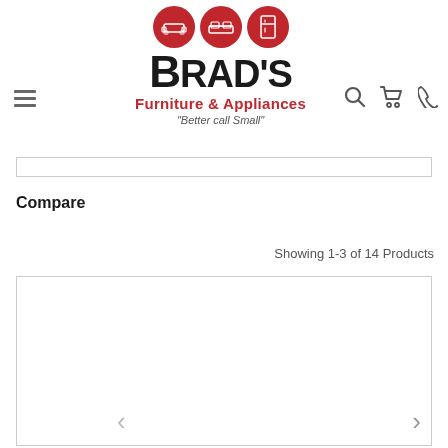[Figure (logo): Brad's Furniture & Appliances logo with red circles containing sofa, bed, and fridge icons above the brand name, with tagline 'Better call Small']
Compare
Showing 1-3 of 14 Products